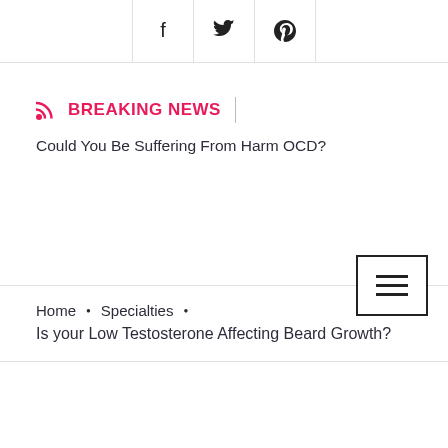Social share icons: Facebook, Twitter, Pinterest
BREAKING NEWS
Could You Be Suffering From Harm OCD?
[Figure (other): Hamburger menu button with three horizontal lines]
Home • Specialties •
Is your Low Testosterone Affecting Beard Growth?